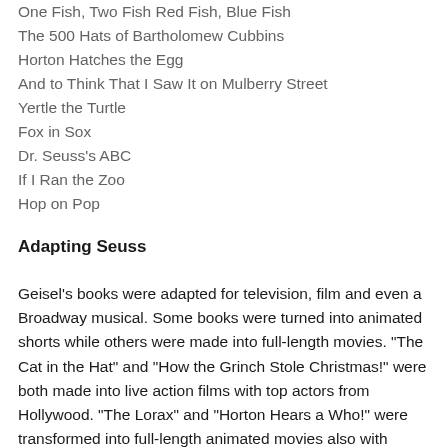One Fish, Two Fish Red Fish, Blue Fish
The 500 Hats of Bartholomew Cubbins
Horton Hatches the Egg
And to Think That I Saw It on Mulberry Street
Yertle the Turtle
Fox in Sox
Dr. Seuss's ABC
If I Ran the Zoo
Hop on Pop
Adapting Seuss
Geisel's books were adapted for television, film and even a Broadway musical. Some books were turned into animated shorts while others were made into full-length movies. "The Cat in the Hat" and "How the Grinch Stole Christmas!" were both made into live action films with top actors from Hollywood. "The Lorax" and "Horton Hears a Who!" were transformed into full-length animated movies also with formidable actors lending their voices to the characters of both stories